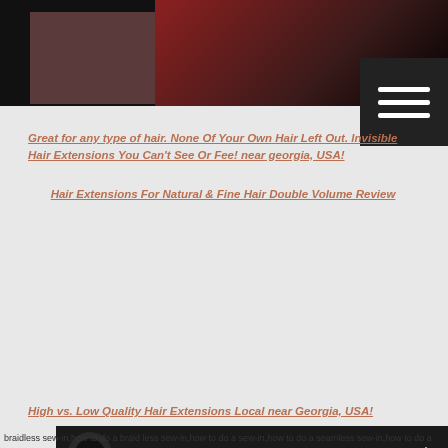[Figure (photo): Dark video thumbnail showing people in low-light setting with red/pink tones]
Great for any type of hair. None Of Your Own Hair Left Out. Invisible Hair Extensions You Can't See Or Fee! near georgia, USA!
Hair Extensions For Natural & Fine Hair Double Volume Review
[Figure (screenshot): YouTube video player showing 'Video Kiastyles Signature Secret ...' with All That & More channel logo]
High vs. Low Quality Hair Extensions Local near Georgia, USA!
braidless sew-in,how to do a braid less sew-in,how to do a sew-in,how to do a seamless sew-in,how to do a